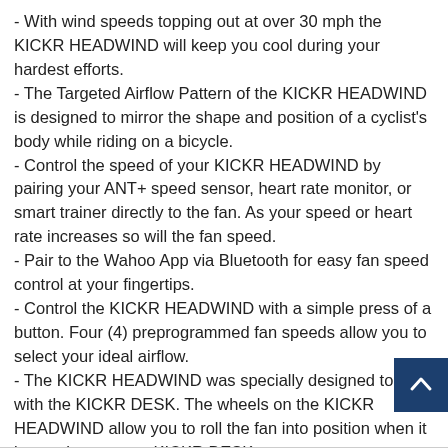- With wind speeds topping out at over 30 mph the KICKR HEADWIND will keep you cool during your hardest efforts.
- The Targeted Airflow Pattern of the KICKR HEADWIND is designed to mirror the shape and position of a cyclist's body while riding on a bicycle.
- Control the speed of your KICKR HEADWIND by pairing your ANT+ speed sensor, heart rate monitor, or smart trainer directly to the fan. As your speed or heart rate increases so will the fan speed.
- Pair to the Wahoo App via Bluetooth for easy fan speed control at your fingertips.
- Control the KICKR HEADWIND with a simple press of a button. Four (4) preprogrammed fan speeds allow you to select your ideal airflow.
- The KICKR HEADWIND was specially designed to fit with the KICKR DESK. The wheels on the KICKR HEADWIND allow you to roll the fan into position when it is attached to your KICKR DESK.